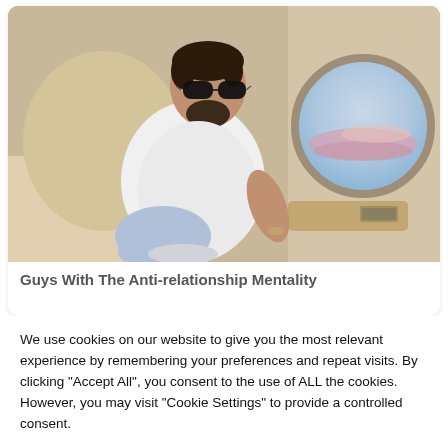[Figure (photo): Man wearing sunglasses and a white hoodie sitting cross-legged in a private jet seat next to a round window showing pink and blue sky.]
Guys With The Anti-relationship Mentality
We use cookies on our website to give you the most relevant experience by remembering your preferences and repeat visits. By clicking “Accept All”, you consent to the use of ALL the cookies. However, you may visit "Cookie Settings" to provide a controlled consent.